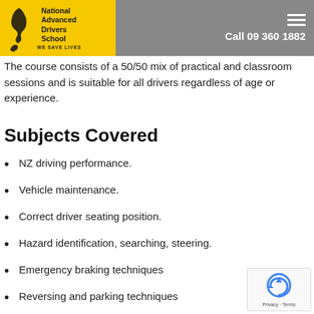ap... with a presentation of certificates.
[Figure (logo): National Advanced Drivers School logo — yellow box with NZ map silhouette and text 'National Advanced Drivers School WE SAVE LIVES', plus phone number 'Call 09 360 1882' on grey bar]
The course consists of a 50/50 mix of practical and classroom sessions and is suitable for all drivers regardless of age or experience.
Subjects Covered
NZ driving performance.
Vehicle maintenance.
Correct driver seating position.
Hazard identification, searching, steering.
Emergency braking techniques
Reversing and parking techniques